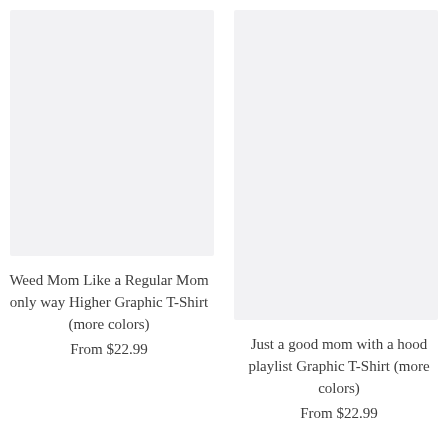[Figure (photo): Product image placeholder for Weed Mom Like a Regular Mom only way Higher Graphic T-Shirt, light gray background]
Weed Mom Like a Regular Mom only way Higher Graphic T-Shirt (more colors)
From $22.99
[Figure (photo): Product image placeholder for Just a good mom with a hood playlist Graphic T-Shirt, light gray background]
Just a good mom with a hood playlist Graphic T-Shirt (more colors)
From $22.99